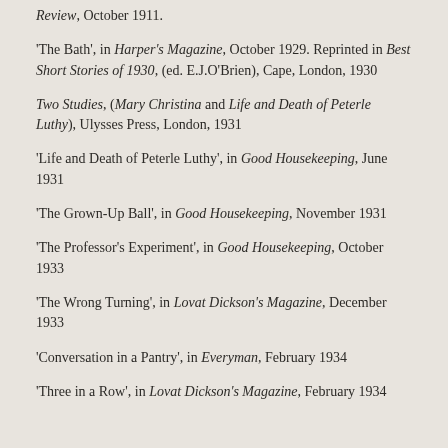Review, October 1911.
'The Bath', in Harper's Magazine, October 1929. Reprinted in Best Short Stories of 1930, (ed. E.J.O'Brien), Cape, London, 1930
Two Studies, (Mary Christina and Life and Death of Peterle Luthy), Ulysses Press, London, 1931
'Life and Death of Peterle Luthy', in Good Housekeeping, June 1931
'The Grown-Up Ball', in Good Housekeeping, November 1931
'The Professor's Experiment', in Good Housekeeping, October 1933
'The Wrong Turning', in Lovat Dickson's Magazine, December 1933
'Conversation in a Pantry', in Everyman, February 1934
'Three in a Row', in Lovat Dickson's Magazine, February 1934